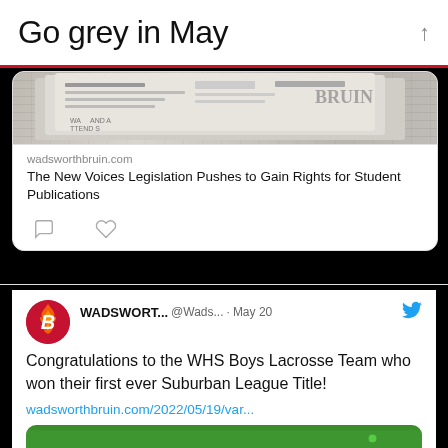Go grey in May
[Figure (screenshot): Newspaper/print image thumbnail for wadsworthbruin.com article]
wadsworthbruin.com
The New Voices Legislation Pushes to Gain Rights for Student Publications
[Figure (screenshot): Twitter/X post by WADSWORT... @Wads... on May 20 with Twitter bird icon. Text: Congratulations to the WHS Boys Lacrosse Team who won their first ever Suburban League Title! Link: wadsworthbruin.com/2022/05/19/var... Photo of lacrosse team celebrating on green field.]